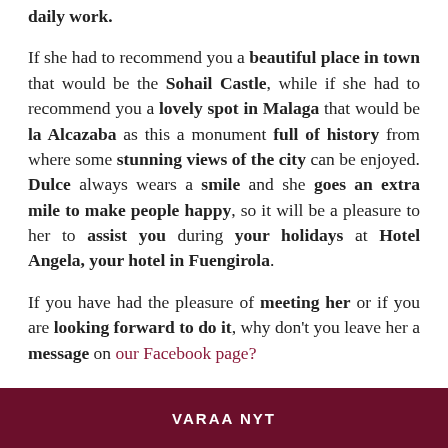daily work.
If she had to recommend you a beautiful place in town that would be the Sohail Castle, while if she had to recommend you a lovely spot in Malaga that would be la Alcazaba as this a monument full of history from where some stunning views of the city can be enjoyed. Dulce always wears a smile and she goes an extra mile to make people happy, so it will be a pleasure to her to assist you during your holidays at Hotel Angela, your hotel in Fuengirola.
If you have had the pleasure of meeting her or if you are looking forward to do it, why don't you leave her a message on our Facebook page?
VARAA NYT